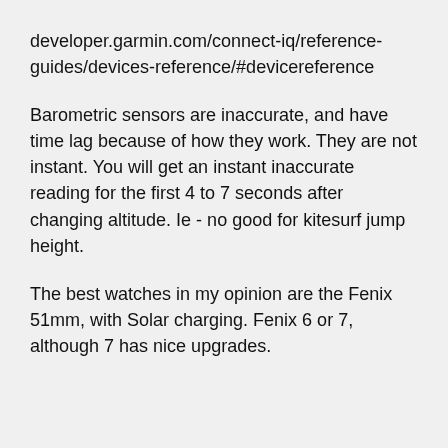developer.garmin.com/connect-iq/reference-guides/devices-reference/#devicereference
Barometric sensors are inaccurate, and have time lag because of how they work. They are not instant. You will get an instant inaccurate reading for the first 4 to 7 seconds after changing altitude. Ie - no good for kitesurf jump height.
The best watches in my opinion are the Fenix 51mm, with Solar charging. Fenix 6 or 7, although 7 has nice upgrades.